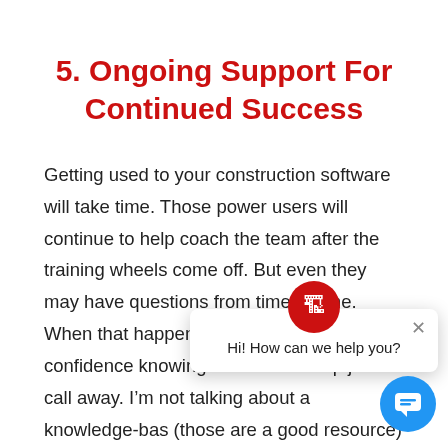5. Ongoing Support For Continued Success
Getting used to your construction software will take time. Those power users will continue to help coach the team after the training wheels come off. But even they may have questions from time to time.
When that happens, it’s nice to have the confidence knowing that there’s help just a call away. I’m not talking about a knowledge-base (those are a good resource) or some outsourced
[Figure (screenshot): Chat widget overlay: a circular red logo icon above a white popup box containing 'Hi! How can we help you?' with a close (×) button, and a blue circular chat button below.]